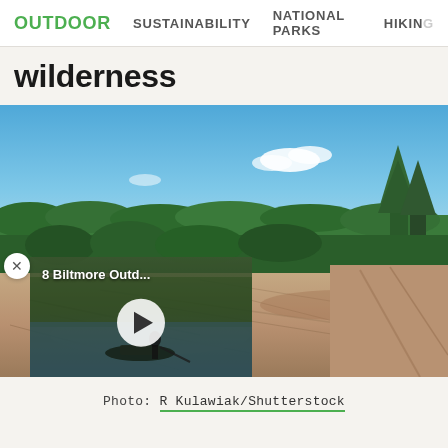OUTDOOR  SUSTAINABILITY  NATIONAL PARKS  HIKING
wilderness
[Figure (photo): Aerial panoramic view from a rocky granite outcrop overlooking a vast boreal forest with a lake visible in the background under a blue sky with clouds. In the foreground are exposed pink/orange granite rocks. An embedded video overlay at bottom-left shows a person on a boat on a river, with title '8 Biltmore Outd...' and a play button.]
Photo: R Kulawiak/Shutterstock